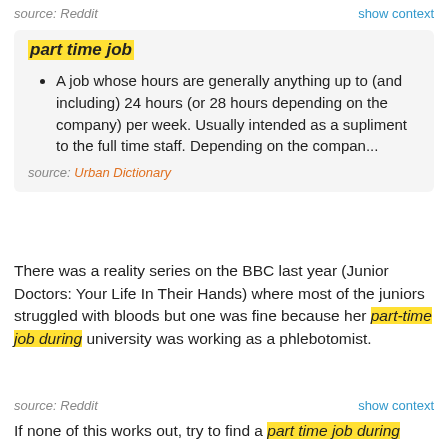source: Reddit
show context
part time job
Dictionary
A job whose hours are generally anything up to (and including) 24 hours (or 28 hours depending on the company) per week. Usually intended as a supliment to the full time staff. Depending on the compan...
source: Urban Dictionary
There was a reality series on the BBC last year (Junior Doctors: Your Life In Their Hands) where most of the juniors struggled with bloods but one was fine because her part-time job during university was working as a phlebotomist.
source: Reddit
show context
If none of this works out, try to find a part time job during